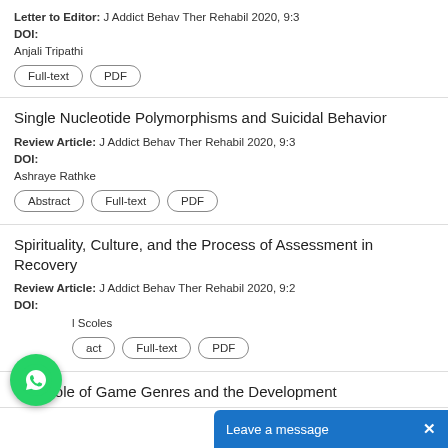Letter to Editor: J Addict Behav Ther Rehabil 2020, 9:3
DOI:
Anjali Tripathi
Full-text | PDF
Single Nucleotide Polymorphisms and Suicidal Behavior
Review Article: J Addict Behav Ther Rehabil 2020, 9:3
DOI:
Ashraye Rathke
Abstract | Full-text | PDF
Spirituality, Culture, and the Process of Assessment in Recovery
Review Article: J Addict Behav Ther Rehabil 2020, 9:2
DOI:
l Scoles
act | Full-text | PDF
The Role of Game Genres and the Development